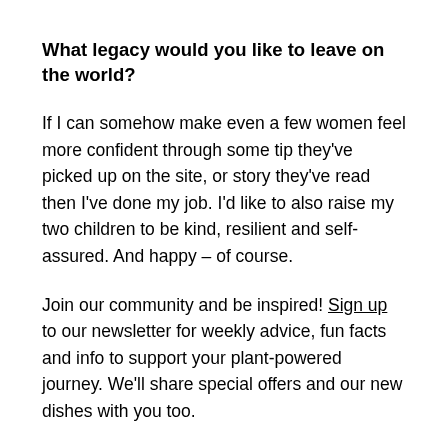What legacy would you like to leave on the world?
If I can somehow make even a few women feel more confident through some tip they've picked up on the site, or story they've read then I've done my job. I'd like to also raise my two children to be kind, resilient and self-assured. And happy – of course.
Join our community and be inspired! Sign up to our newsletter for weekly advice, fun facts and info to support your plant-powered journey. We'll share special offers and our new dishes with you too.